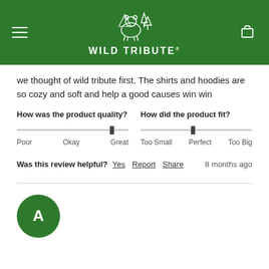WILD TRIBUTE
we thought of wild tribute first. The shirts and hoodies are so cozy and soft and help a good causes win win
[Figure (infographic): Two slider controls: 'How was the product quality?' with thumb near 'Great', and 'How did the product fit?' with thumb near 'Perfect']
Was this review helpful? Yes  Report  Share    8 months ago
[Figure (illustration): Green circle avatar with white letter A]